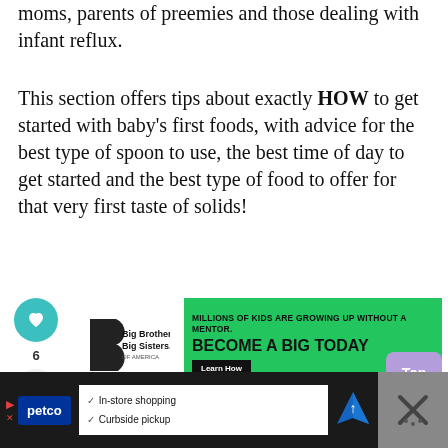moms, parents of preemies and those dealing with infant reflux.
This section offers tips about exactly HOW to get started with baby's first foods, with advice for the best type of spoon to use, the best time of day to get started and the best type of food to offer for that very first taste of solids!
[Figure (other): Social interaction buttons: heart/like button (teal circle), like count '6', and share button]
[Figure (other): Advertisement banner for Big Brothers Big Sisters of America: 'Millions of kids are growing up without a mentor. Become a Big Today. Learn How.']
[Figure (other): What's Next section with baby photo. Label: 'WHAT'S NEXT'. Text: 'A Guide to Introducing...']
[Figure (other): Purple 'Top' button in bottom right corner]
[Figure (other): Bottom advertisement bar for Petco: 'In-store shopping', 'Curbside pickup'. Black background with Petco logo and map icon.]